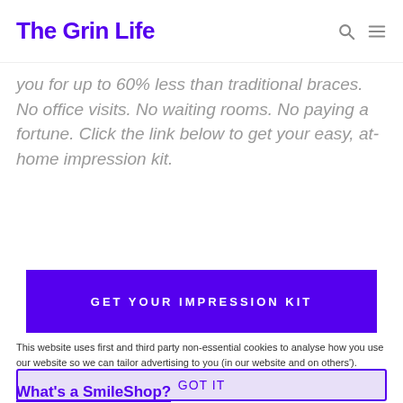The Grin Life
you for up to 60% less than traditional braces. No office visits. No waiting rooms. No paying a fortune. Click the link below to get your easy, at-home impression kit.
GET YOUR IMPRESSION KIT
This website uses first and third party non-essential cookies to analyse how you use our website so we can tailor advertising to you (in our website and on others').
GOT IT
What's a SmileShop?